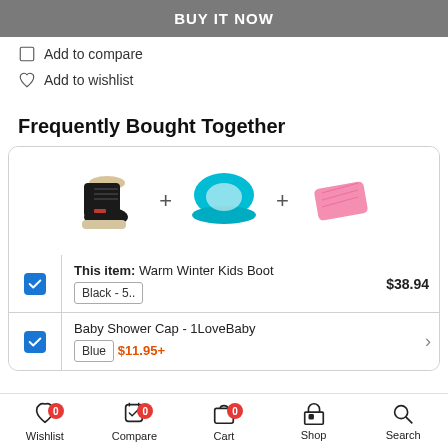BUY IT NOW
☐ Add to compare
♡ Add to wishlist
Frequently Bought Together
[Figure (illustration): Three product images in a row: black winter boot, blue baby shower cap, pink rectangular item, with + signs between them]
| ✓ | This item: Warm Winter Kids Boot | Black - 5.. | $38.94 |
| ✓ | Baby Baby Shower Cap - 1LoveBaby | Blue | $11.95+ |
Wishlist 0 | Compare 0 | Cart 0 | Shop | Search